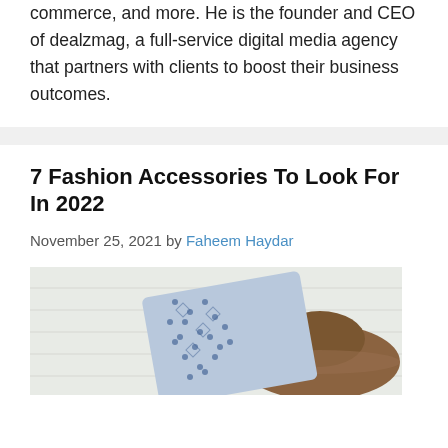commerce, and more. He is the founder and CEO of dealzmag, a full-service digital media agency that partners with clients to boost their business outcomes.
7 Fashion Accessories To Look For In 2022
November 25, 2021 by Faheem Haydar
[Figure (photo): Photo of fashion accessories including a patterned blue and white fabric/scarf and a brown wide-brim hat on a white wooden surface]